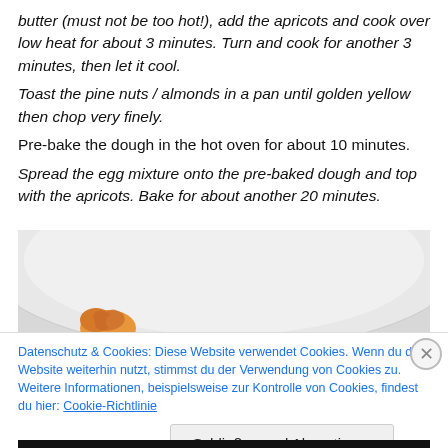butter (must not be too hot!), add the apricots and cook over low heat for about 3 minutes. Turn and cook for another 3 minutes, then let it cool. Toast the pine nuts / almonds in a pan until golden yellow then chop very finely. Pre-bake the dough in the hot oven for about 10 minutes. Spread the egg mixture onto the pre-baked dough and top with the apricots. Bake for about another 20 minutes.
[Figure (photo): Partial view of a white ceramic plate with a small piece of apricot tart visible at the bottom left corner.]
Datenschutz & Cookies: Diese Website verwendet Cookies. Wenn du die Website weiterhin nutzt, stimmst du der Verwendung von Cookies zu. Weitere Informationen, beispielsweise zur Kontrolle von Cookies, findest du hier: Cookie-Richtlinie